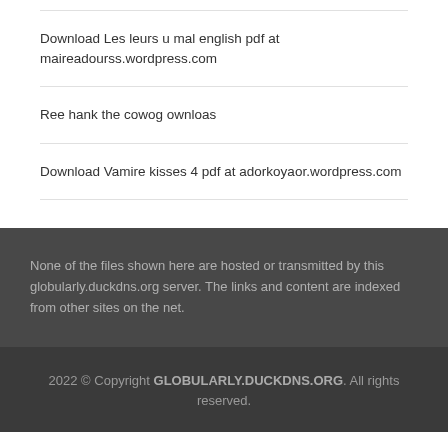Download Les leurs u mal english pdf at maireadourss.wordpress.com
Ree hank the cowog ownloas
Download Vamire kisses 4 pdf at adorkoyaor.wordpress.com
None of the files shown here are hosted or transmitted by this globularly.duckdns.org server. The links and content are indexed from other sites on the net.
2022 © Copyright GLOBULARLY.DUCKDNS.ORG. All rights reserved.